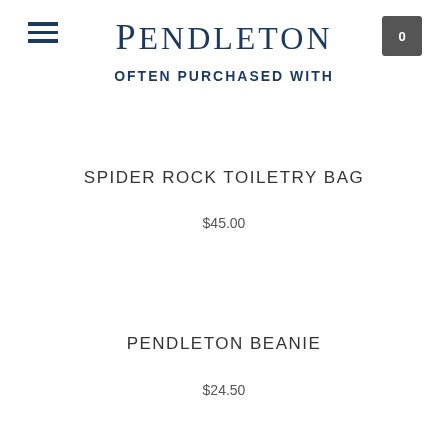PENDLETON
OFTEN PURCHASED WITH
SPIDER ROCK TOILETRY BAG
$45.00
PENDLETON BEANIE
$24.50